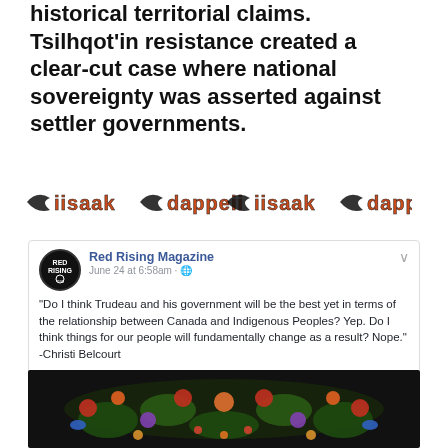historical territorial claims. Tsilhqot'in resistance created a clear-cut case where national sovereignty was asserted against settler governments.
[Figure (logo): iisaak dappeii logo repeated twice in orange and black decorative lettering]
[Figure (screenshot): Facebook post by Red Rising Magazine dated June 24 at 6:58am with quote by Christi Belcourt about Trudeau and Indigenous Peoples, followed by a colorful floral artwork image]
"Do I think Trudeau and his government will be the best yet in terms of the relationship between Canada and Indigenous Peoples? Yep. Do I think things for our people will fundamentally change as a result? Nope." -Christi Belcourt
**Red Rising Magazine exclusive content**